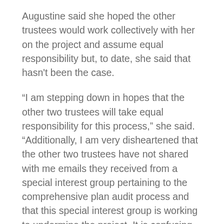Augustine said she hoped the other trustees would work collectively with her on the project and assume equal responsibility but, to date, she said that hasn't been the case.
“I am stepping down in hopes that the other two trustees will take equal responsibility for this process,” she said. “Additionally, I am very disheartened that the other two trustees have not shared with me emails they received from a special interest group pertaining to the comprehensive plan audit process and that this special interest group is working to undermine the project. It is confusing to residents when someone posted a draft of potential questions for the community survey on social media as if they were the final questions which they are not.”
Ascherl said she believes she and Swedyk have been helping to facilitate the process.